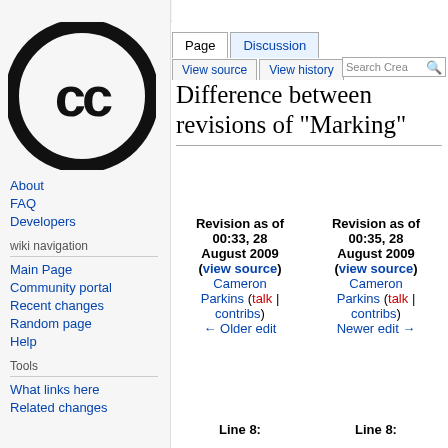Log in
[Figure (logo): Creative Commons CC logo - black circle with CC letters]
About
FAQ
Developers
wiki navigation
Main Page
Community portal
Recent changes
Random page
Help
Tools
What links here
Related changes
Difference between revisions of "Marking"
| Revision as of 00:33, 28 August 2009 (view source) | Revision as of 00:35, 28 August 2009 (view source) |
| --- | --- |
| Cameron Parkins (talk | contribs) | Cameron Parkins (talk | contribs) |
| ← Older edit | Newer edit → |
Line 8:    Line 8: